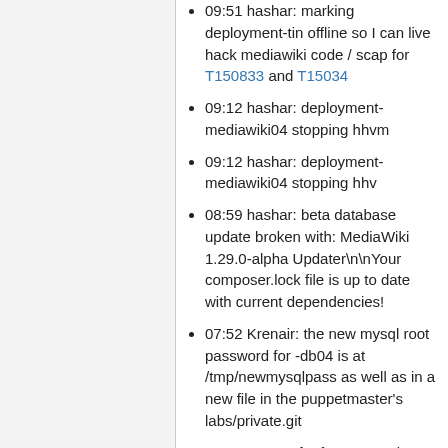09:51 hashar: marking deployment-tin offline so I can live hack mediawiki code / scap for T150833 and T15034
09:12 hashar: deployment-mediawiki04 stopping hhvm
09:12 hashar: deployment-mediawiki04 stopping hhv
08:59 hashar: beta database update broken with: MediaWiki 1.29.0-alpha Updater\n\nYour composer.lock file is up to date with current dependencies!
07:52 Krenair: the new mysql root password for -db04 is at /tmp/newmysqlpass as well as in a new file in the puppetmaster's labs/private.git
06:34 twentyafterfour: restarting hhvm on deployment-mediawiki04